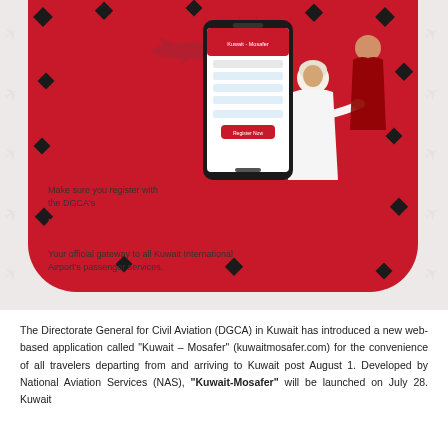[Figure (illustration): Kuwait Mosafer app promotional illustration showing a person in traditional Kuwaiti dress interacting with a large smartphone displaying the app, set against a red rounded card background with decorative black diamond shapes and a watermark pattern]
Travelling Soon?
Make sure you register with the DGCA's
Kuwait - Mosafer App
kuwaitmosafer.com
Your official gateway to all Kuwait International Airport's passenger services.
The Directorate General for Civil Aviation (DGCA) in Kuwait has introduced a new web-based application called “Kuwait – Mosafer” (kuwaitmosafer.com) for the convenience of all travelers departing from and arriving to Kuwait post August 1. Developed by National Aviation Services (NAS), “Kuwait-Mosafer” will be launched on July 28. Kuwait